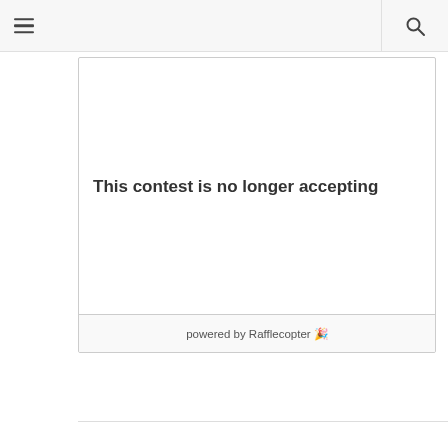[hamburger menu icon] [search icon]
[Figure (screenshot): Rafflecopter contest widget box showing 'This contest is no longer accepting' message with 'powered by Rafflecopter' footer]
This contest is no longer accepting
powered by Rafflecopter 🎉